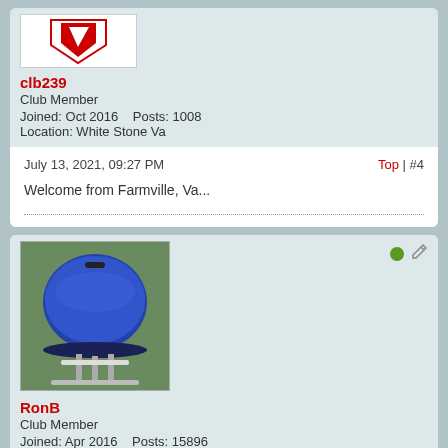[Figure (photo): Avatar image with red logo/icon on white background]
clb239
Club Member
Joined: Oct 2016    Posts: 1008
Location: White Stone Va
July 13, 2021, 09:27 PM
Top | #4
Welcome from Farmville, Va...
[Figure (photo): Avatar image showing a blue Weber kettle grill outdoors]
RonB
Club Member
Joined: Apr 2016    Posts: 15896
Location: Near Richmond VA